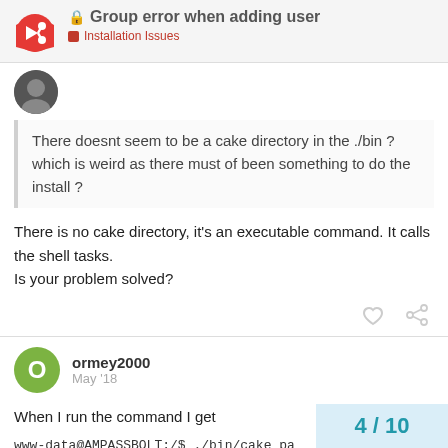Group error when adding user — Installation Issues
There doesnt seem to be a cake directory in the ./bin ? which is weird as there must of been something to do the install ?
There is no cake directory, it's an executable command. It calls the shell tasks.
Is your problem solved?
ormey2000   May '18
When I run the command I get
www-data@AMPASSBOLT:/$ ./bin/cake pa
bash: ./bin/cake: No such file or directory